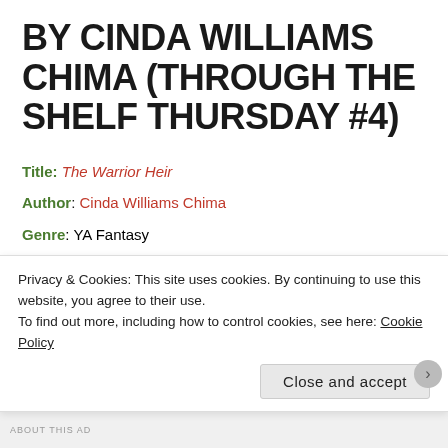BY CINDA WILLIAMS CHIMA (THROUGH THE SHELF THURSDAY #4)
Title: The Warrior Heir
Author: Cinda Williams Chima
Genre: YA Fantasy
Description from Goodreads:
Before he knew about the
[Figure (photo): Book cover showing dark green background with golden text reading 'A NOVEL']
Privacy & Cookies: This site uses cookies. By continuing to use this website, you agree to their use.
To find out more, including how to control cookies, see here: Cookie Policy
Close and accept